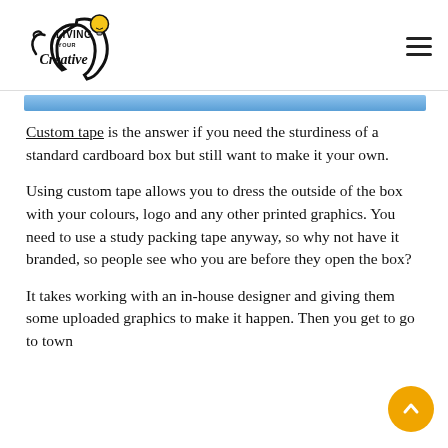Living Your Creative [logo with hamburger menu]
[Figure (illustration): Partial blue gradient banner image at top of content area]
Custom tape is the answer if you need the sturdiness of a standard cardboard box but still want to make it your own.
Using custom tape allows you to dress the outside of the box with your colours, logo and any other printed graphics. You need to use a study packing tape anyway, so why not have it branded, so people see who you are before they open the box?
It takes working with an in-house designer and giving them some uploaded graphics to make it happen. Then you get to go to town